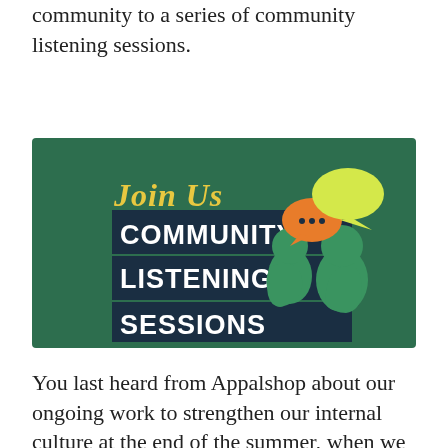community to a series of community listening sessions.
[Figure (illustration): Banner graphic with dark green background. Left side shows yellow cursive text 'Join Us' above bold white text 'COMMUNITY LISTENING SESSIONS' on dark navy blue overlays. Right side shows silhouettes of two green people facing each other with orange and yellow speech bubbles above them with '...' inside the orange bubble.]
You last heard from Appalshop about our ongoing work to strengthen our internal culture at the end of the summer, when we shared the steps we'd already implemented at our Roadside Theatre and assembly of Appalshop